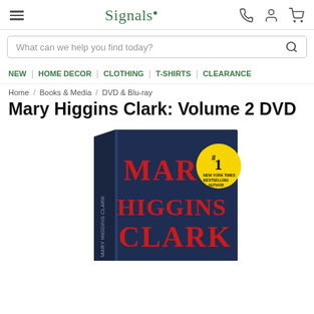Signals
What can we help you find today?
NEW | HOME DECOR | CLOTHING | T-SHIRTS | CLEARANCE
Home / Books & Media / DVD & Blu-ray
Mary Higgins Clark: Volume 2 DVD
[Figure (photo): DVD box set of Mary Higgins Clark Volume 2, dark navy cover with red bold text reading MARY HIGGINS CLARK and a yellow badge reading #1 New York Times Bestselling Author]